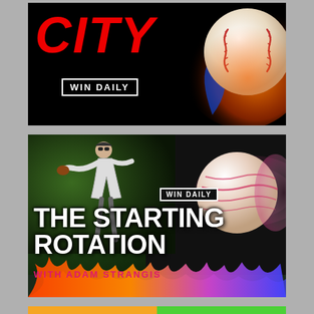[Figure (illustration): Black background banner with large red italic bold 'CITY' text on the left, 'WIN DAILY' text in a white bordered box below, and a flaming baseball on the right side]
[Figure (illustration): Dark background banner showing a baseball pitcher throwing, a spinning baseball on the right, colorful fire flames at the bottom, WIN DAILY label, title 'THE STARTING ROTATION' in large white bold text, subtitle 'WITH ADAM STRANGIS' in pink/red text]
[Figure (illustration): Partial bottom banner with orange and green split background]